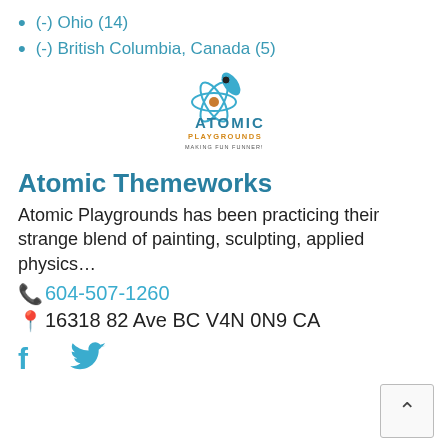(-) Ohio (14)
(-) British Columbia, Canada (5)
[Figure (logo): Atomic Playgrounds logo with atom graphic and rocket, teal and orange colors, text: ATOMIC PLAYGROUNDS MAKING FUN FUNNER!]
Atomic Themeworks
Atomic Playgrounds has been practicing their strange blend of painting, sculpting, applied physics…
604-507-1260
16318 82 Ave BC V4N 0N9 CA
[Figure (illustration): Facebook and Twitter social media icons in teal]